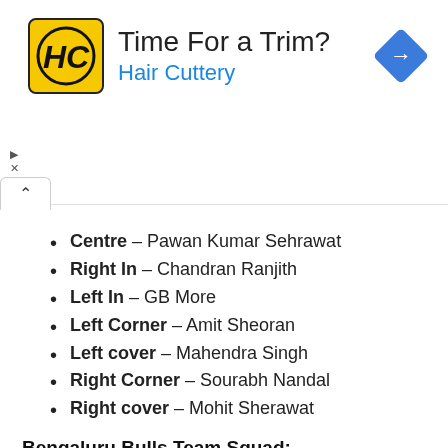[Figure (other): Hair Cuttery advertisement banner with logo, 'Time For a Trim?' heading, 'Hair Cuttery' subtext in blue, and a blue diamond navigation arrow icon. Includes ad controls (play/close) and an active browser tab indicator below.]
Centre – Pawan Kumar Sehrawat
Right In – Chandran Ranjith
Left In – GB More
Left Corner – Amit Sheoran
Left cover – Mahendra Singh
Right Corner – Sourabh Nandal
Right cover – Mohit Sherawat
Bengaluru Bulls Team Squad:
Raiders: Pawan Sehrawat, Chandran Ranjit,